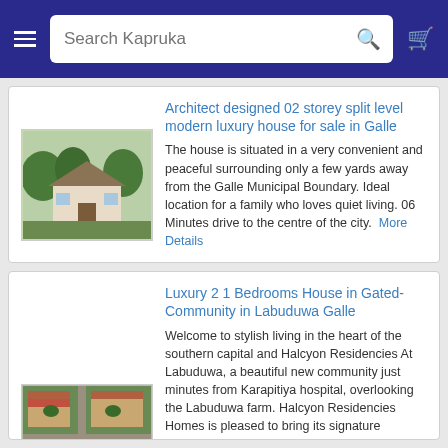Search Kapruka
Architect designed 02 storey split level modern luxury house for sale in Galle
The house is situated in a very convenient and peaceful surrounding only a few yards away from the Galle Municipal Boundary. Ideal location for a family who loves quiet living. 06 Minutes drive to the centre of the city. More Details
[Figure (photo): Exterior photo of a house surrounded by trees]
Luxury 2 1 Bedrooms House in Gated-Community in Labuduwa Galle
Welcome to stylish living in the heart of the southern capital and Halcyon Residencies At Labuduwa, a beautiful new community just minutes from Karapitiya hospital, overlooking the Labuduwa farm. Halcyon Residencies Homes is pleased to bring its signature commitment to architecture and thoughtful design to this visionary new community that celebrates the brilliance of modern urban design. Halcyon Residencies`s collection of homes will be
[Figure (photo): Aerial view of a housing community with terracotta roofs]